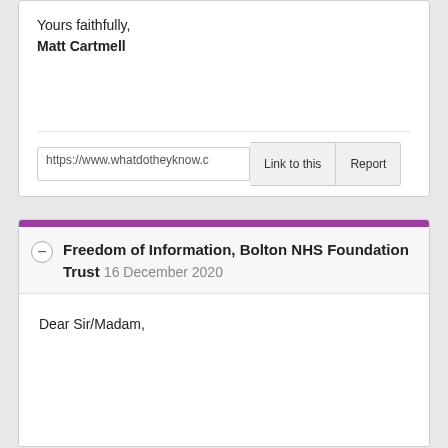Yours faithfully,
Matt Cartmell
https://www.whatdotheyknow.c  Link to this  Report
Freedom of Information, Bolton NHS Foundation Trust 16 December 2020
Dear Sir/Madam,